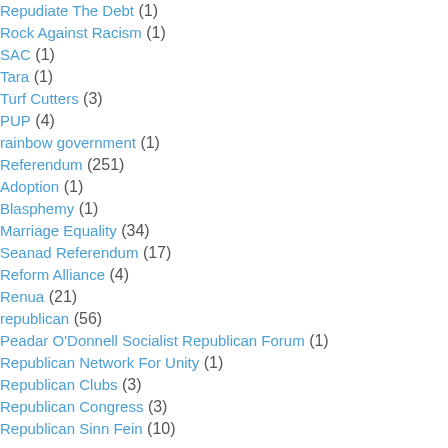Repudiate The Debt (1)
Rock Against Racism (1)
SAC (1)
Tara (1)
Turf Cutters (3)
PUP (4)
rainbow government (1)
Referendum (251)
Adoption (1)
Blasphemy (1)
Marriage Equality (34)
Seanad Referendum (17)
Reform Alliance (4)
Renua (21)
republican (56)
Peadar O'Donnell Socialist Republican Forum (1)
Republican Network For Unity (1)
Republican Clubs (3)
Republican Congress (3)
Republican Sinn Fein (10)